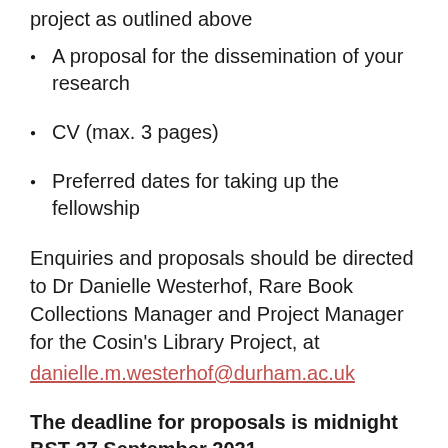project as outlined above
A proposal for the dissemination of your research
CV (max. 3 pages)
Preferred dates for taking up the fellowship
Enquiries and proposals should be directed to Dr Danielle Westerhof, Rare Book Collections Manager and Project Manager for the Cosin's Library Project, at danielle.m.westerhof@durham.ac.uk
The deadline for proposals is midnight BST 27 September 2021